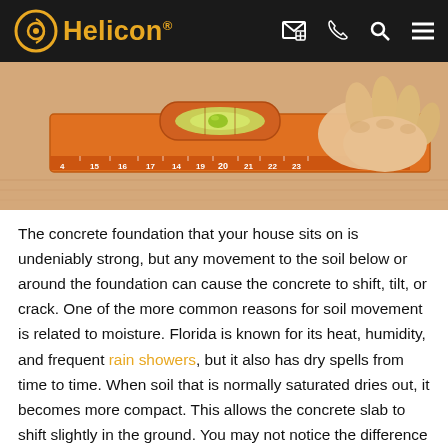Helicon® [navigation icons: email, phone, search, menu]
[Figure (photo): Close-up photo of an orange spirit level / bubble level ruler being held by a person's hand on a wooden surface, showing measurement markings around 14–23.]
The concrete foundation that your house sits on is undeniably strong, but any movement to the soil below or around the foundation can cause the concrete to shift, tilt, or crack. One of the more common reasons for soil movement is related to moisture. Florida is known for its heat, humidity, and frequent rain showers, but it also has dry spells from time to time. When soil that is normally saturated dries out, it becomes more compact. This allows the concrete slab to shift slightly in the ground. You may not notice the difference initially, but the angle